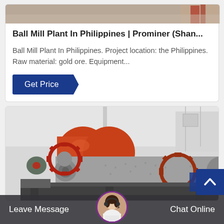[Figure (photo): Partial top image of industrial machinery/ball mill plant, cropped at top of page]
Ball Mill Plant In Philippines | Prominer (Shan...
Ball Mill Plant In Philippines. Project location: the Philippines. Raw material: gold ore. Equipment...
Get Price
[Figure (photo): Industrial ball mill equipment in a factory/warehouse setting, showing large cylindrical grinding mill with orange drum, red gear wheels, and grey cylindrical body]
Leave Message
Chat Online